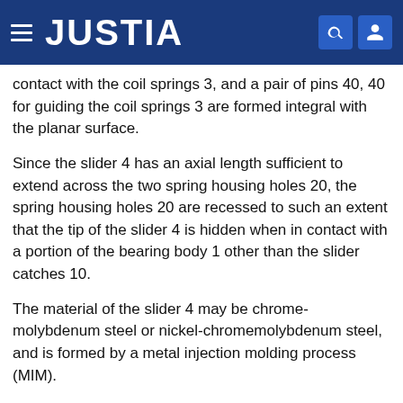JUSTIA
contact with the coil springs 3, and a pair of pins 40, 40 for guiding the coil springs 3 are formed integral with the planar surface.
Since the slider 4 has an axial length sufficient to extend across the two spring housing holes 20, the spring housing holes 20 are recessed to such an extent that the tip of the slider 4 is hidden when in contact with a portion of the bearing body 1 other than the slider catches 10.
The material of the slider 4 may be chrome-molybdenum steel or nickel-chromemolybdenum steel, and is formed by a metal injection molding process (MIM).
Two sets of hinges according to the first embodiment are required for a folding portable mobile telephone. A